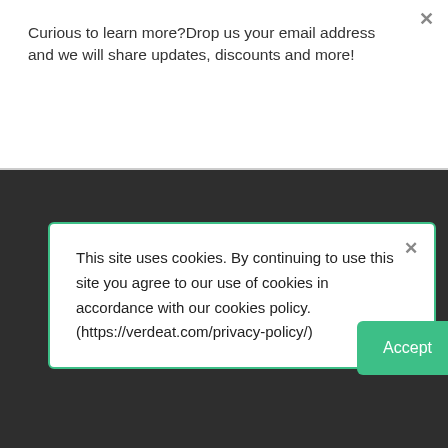Curious to learn more?Drop us your email address and we will share updates, discounts and more!
Subscribe
This site uses cookies. By continuing to use this site you agree to our use of cookies in accordance with our cookies policy. (https://verdeat.com/privacy-policy/)
Accept